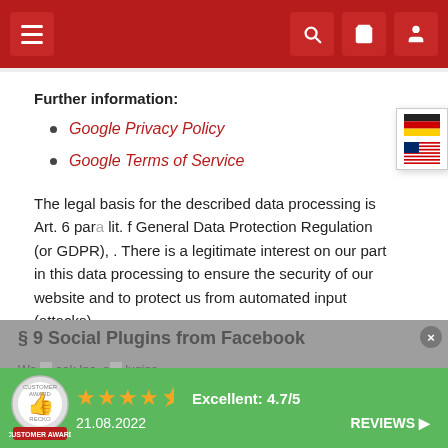Navigation header with menu, search, cart, and user icons
Further information:
Google Privacy Policy
Google Terms of Service
The legal basis for the described data processing is Art. 6 para. lit. f General Data Protection Regulation (or GDPR), . There is a legitimate interest on our part in this data processing to ensure the security of our website and to protect us from automated input (attacks).
§ 9 Social Plugins from Facebook
We ... book Inc. ... lugins.
[Figure (infographic): Customer award badge with green background, 4.5 star rating, Excellent: 4.7/5, date 21.08.2022, REVIEWS link]